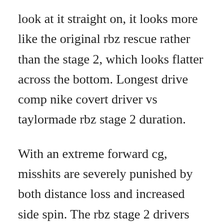look at it straight on, it looks more like the original rbz rescue rather than the stage 2, which looks flatter across the bottom. Longest drive comp nike covert driver vs taylormade rbz stage 2 duration.
With an extreme forward cg, misshits are severely punished by both distance loss and increased side spin. The rbz stage 2 drivers have larger faces and different center of gravity positions than taylormades pricer, more adjustable r1 driver. Lowest prices on taylormade closeouts at golf discount. Rbz